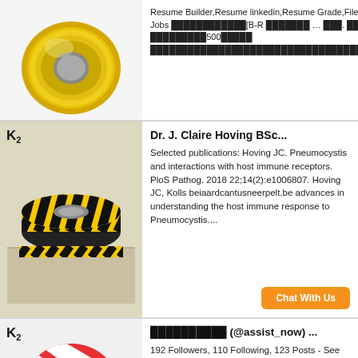[Figure (photo): Yellow/clear tape roll on white background, partial view at top]
Resume Builder,Resume linkedin,Resume Grade,File Convert. Cover Letter for Jobs ████████████[B-R ███████ ... ███. ████. █████████. █████████500█████ ████████████████████████████████████████████████....
Chat With Us
[Figure (photo): K2 logo. Yellow and black hazard warning tape roll on a light surface]
Dr. J. Claire Hoving BSc...
Selected publications: Hoving JC. Pneumocystis and interactions with host immune receptors. PloS Pathog. 2018 22;14(2):e1006807. Hoving JC, Kolls beiaardcantusneerpelt.be advances in understanding the host immune response to Pneumocystis....
Chat With Us
[Figure (photo): K2 logo. Red and white hazard tape roll, partial view]
██████████ (@assist_now) ...
192 Followers, 110 Following, 123 Posts - See Instagram photos and videos from ██████████ (@assist_now)█